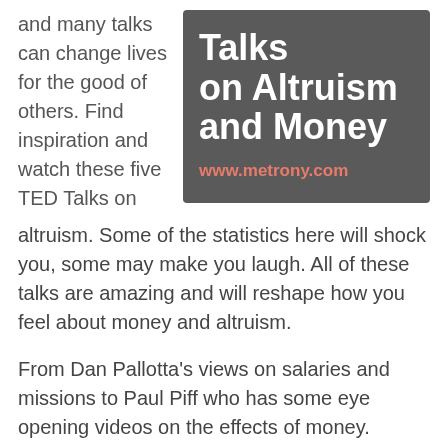and many talks can change lives for the good of others. Find inspiration and watch these five TED Talks on altruism.
[Figure (infographic): Dark grey promotional box with white bold text reading 'Talks on Altruism and Money' and coral/salmon colored URL 'www.metrony.com']
Some of the statistics here will shock you, some may make you laugh. All of these talks are amazing and will reshape how you feel about money and altruism.
From Dan Pallotta's views on salaries and missions to Paul Piff who has some eye opening videos on the effects of money. These TED Talks explore our views on philanthropy, altruism and how money is